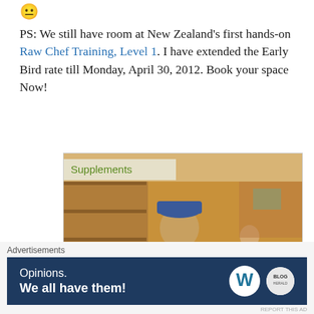[Figure (illustration): Emoji face (neutral/slight smile)]
PS: We still have room at New Zealand's first hands-on Raw Chef Training, Level 1. I have extended the Early Bird rate till Monday, April 30, 2012. Book your space Now!
[Figure (photo): A chef wearing a white jacket and blue hat stands in a health food store with a 'Supplements' sign, holding papers and gesturing. A woman in black stands behind him.]
Advertisements
[Figure (other): Advertisement banner: 'Opinions. We all have them!' with WordPress and WR logos on dark blue background.]